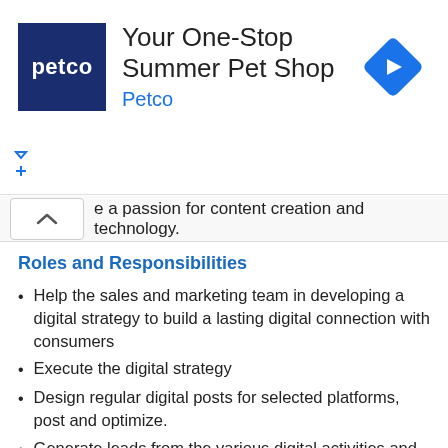[Figure (other): Petco advertisement banner with logo, title 'Your One-Stop Summer Pet Shop', brand name 'Petco', and a blue navigation diamond icon]
e a passion for content creation and technology.
Roles and Responsibilities
Help the sales and marketing team in developing a digital strategy to build a lasting digital connection with consumers
Execute the digital strategy
Design regular digital posts for selected platforms, post and optimize.
Generate leads from the various digital activities and share with the Sales team for follow up.
Prepare email marketing material and organize their distribution through various channels
Monitor the ongoing company presence on all social media platforms and make necessary updates
Regularly acquire insight on the latest technology and marketing trends keep strategies up to date
Measure ROI of all executed strategies and report on